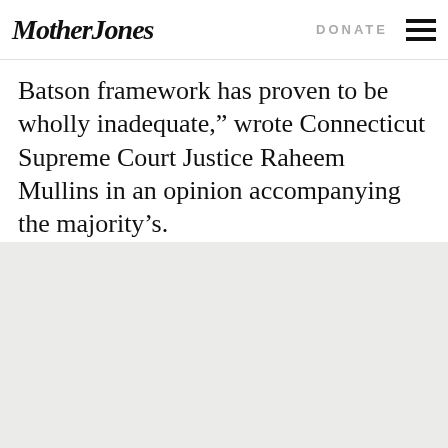Mother Jones | DONATE
Batson framework has proven to be wholly inadequate,” wrote Connecticut Supreme Court Justice Raheem Mullins in an opinion accompanying the majority’s.